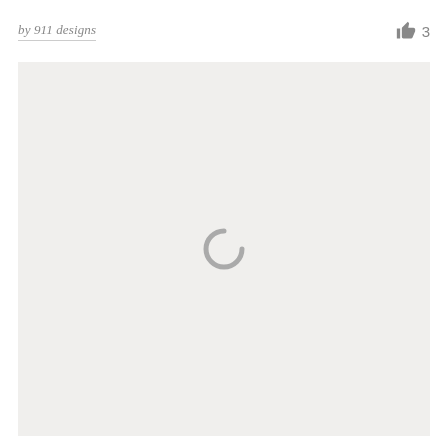by 911 designs
3
[Figure (illustration): A large light gray rectangular area with a loading spinner icon (partial circle arc, open at top-right) centered within it, indicating content is loading.]